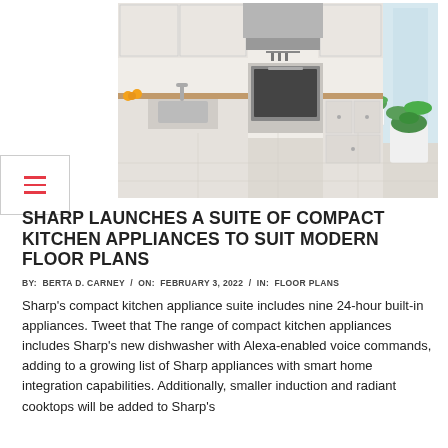[Figure (photo): Modern white kitchen interior with white cabinets, wooden countertop, stainless steel oven, sink, and potted plant near window]
SHARP LAUNCHES A SUITE OF COMPACT KITCHEN APPLIANCES TO SUIT MODERN FLOOR PLANS
BY:  BERTA D. CARNEY  /  ON:  FEBRUARY 3, 2022  /  IN:  FLOOR PLANS
Sharp's compact kitchen appliance suite includes nine 24-hour built-in appliances. Tweet that The range of compact kitchen appliances includes Sharp's new dishwasher with Alexa-enabled voice commands, adding to a growing list of Sharp appliances with smart home integration capabilities. Additionally, smaller induction and radiant cooktops will be added to Sharp's